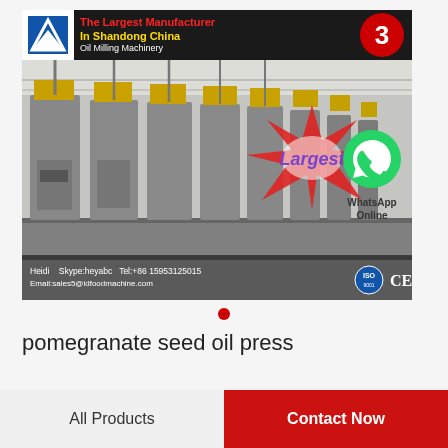[Figure (photo): Industrial oil milling machinery in a large factory hall. Multiple tall machines with yellow hoppers arranged in a row. Header bar shows 'The Largest Manufacturer In Shandong China' with logo and number 3 badge. Bottom bar shows contact info: Heidi, Skype:heyabc, Tel:+86 15953125015, Email:sales5@ldfoodmachine.com. A starburst graphic with 'Largest' text overlays the lower right. ISO and CE certification badges shown. WhatsApp Online icon to the right.]
pomegranate seed oil press
All Products   Contact Now